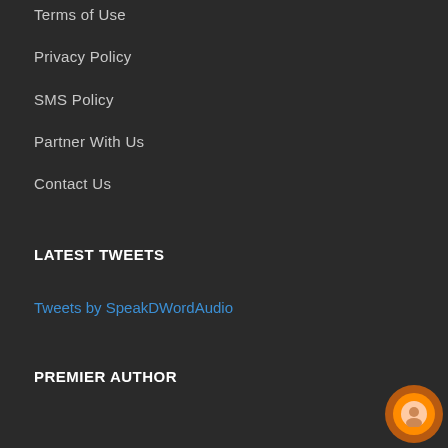Terms of Use
Privacy Policy
SMS Policy
Partner With Us
Contact Us
LATEST TWEETS
Tweets by SpeakDWordAudio
PREMIER AUTHOR